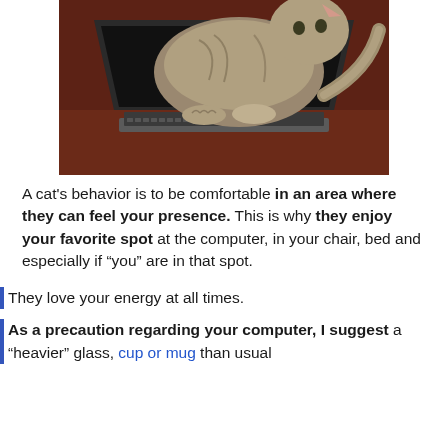[Figure (photo): A cat standing on a laptop keyboard, photographed against a reddish-brown background]
A cat's behavior is to be comfortable in an area where they can feel your presence. This is why they enjoy your favorite spot at the computer, in your chair, bed and especially if “you” are in that spot.
They love your energy at all times.
As a precaution regarding your computer, I suggest a “heavier” glass, cup or mug than usual